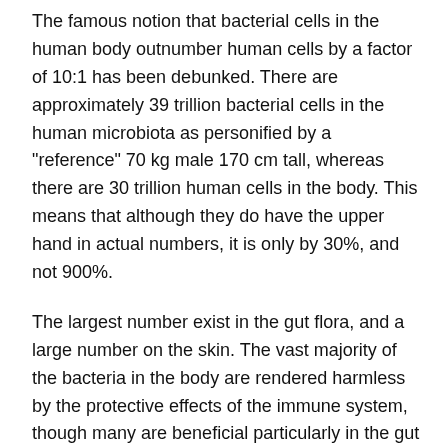The famous notion that bacterial cells in the human body outnumber human cells by a factor of 10:1 has been debunked. There are approximately 39 trillion bacterial cells in the human microbiota as personified by a "reference" 70 kg male 170 cm tall, whereas there are 30 trillion human cells in the body. This means that although they do have the upper hand in actual numbers, it is only by 30%, and not 900%.
The largest number exist in the gut flora, and a large number on the skin. The vast majority of the bacteria in the body are rendered harmless by the protective effects of the immune system, though many are beneficial particularly in the gut flora. However several species of bacteria are pathogenic and cause infectious diseases, including cholera, syphilis, anthrax, leprosy, and bubonic plague. The most common fatal bacterial diseases are respiratory infections, with tuberculosis alone killing about